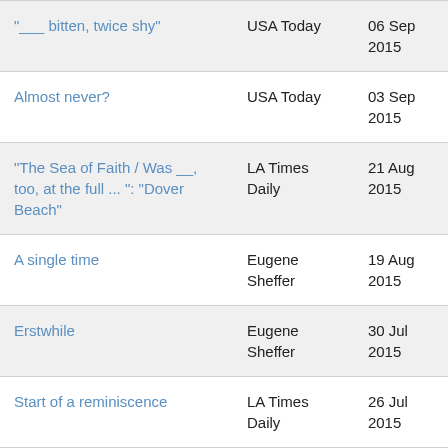| "___ bitten, twice shy" | USA Today | 06 Sep 2015 |
| Almost never? | USA Today | 03 Sep 2015 |
| "The Sea of Faith / Was __, too, at the full ... ": "Dover Beach" | LA Times Daily | 21 Aug 2015 |
| A single time | Eugene Sheffer | 19 Aug 2015 |
| Erstwhile | Eugene Sheffer | 30 Jul 2015 |
| Start of a reminiscence | LA Times Daily | 26 Jul 2015 |